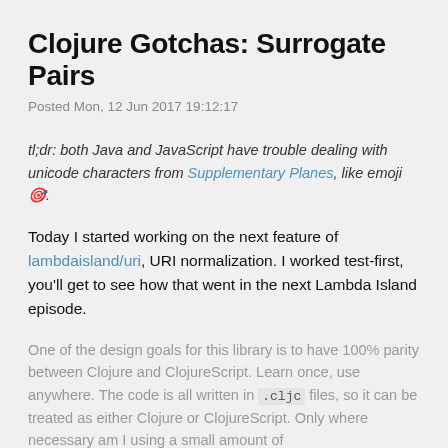Clojure Gotchas: Surrogate Pairs
Posted Mon, 12 Jun 2017 19:12:17
tl;dr: both Java and JavaScript have trouble dealing with unicode characters from Supplementary Planes, like emoji 🎯.
Today I started working on the next feature of lambdaisland/uri, URI normalization. I worked test-first, you'll get to see how that went in the next Lambda Island episode.
One of the design goals for this library is to have 100% parity between Clojure and ClojureScript. Learn once, use anywhere. The code is all written in .cljc files, so it can be treated as either Clojure or ClojureScript. Only where necessary am I using a small amount of